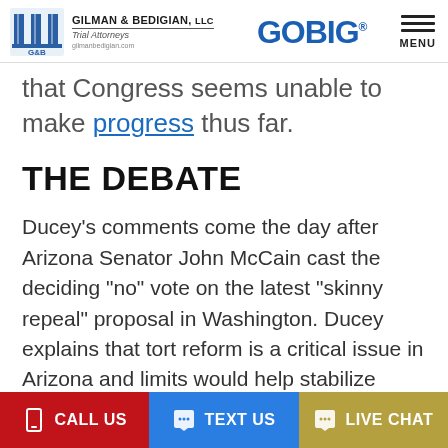GILMAN & BEDIGIAN, LLC Trial Attorneys | GOBIG | MENU
that Congress seems unable to make progress thus far.
THE DEBATE
Ducey's comments come the day after Arizona Senator John McCain cast the deciding “no” vote on the latest “skinny repeal” proposal in Washington. Ducey explains that tort reform is a critical issue in Arizona and limits would help stabilize rates of malpractice insurance for medical providers. Noneconomic damages
CALL US | TEXT US | LIVE CHAT